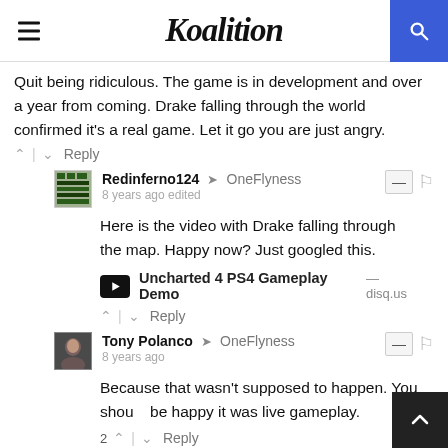Koalition
Quit being ridiculous. The game is in development and over a year from coming. Drake falling through the world confirmed it's a real game. Let it go you are just angry.
Redinferno124 → OneFlyness
8 years ago edited
Here is the video with Drake falling through the map. Happy now? Just googled this.
Uncharted 4 PS4 Gameplay Demo — disq.us
Tony Polanco → OneFlyness
8 years ago
Because that wasn't supposed to happen. You should be happy it was live gameplay.